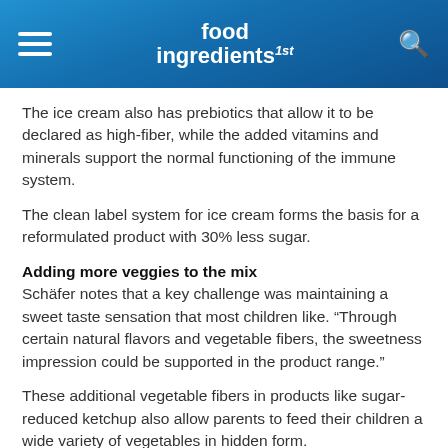food ingredients 1st
The ice cream also has prebiotics that allow it to be declared as high-fiber, while the added vitamins and minerals support the normal functioning of the immune system.
The clean label system for ice cream forms the basis for a reformulated product with 30% less sugar.
Adding more veggies to the mix
Schäfer notes that a key challenge was maintaining a sweet taste sensation that most children like. “Through certain natural flavors and vegetable fibers, the sweetness impression could be supported in the product range.”
These additional vegetable fibers in products like sugar-reduced ketchup also allow parents to feed their children a wide variety of vegetables in hidden form.
By Missy Green